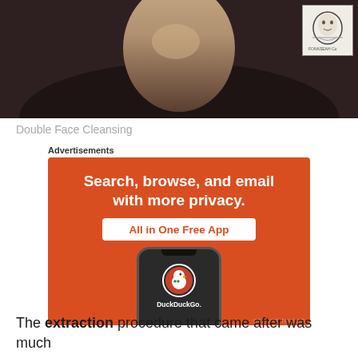[Figure (photo): Close-up photo of a person's chin and neck area wearing a dark hoodie, with a small illustrated logo box in the top right corner showing a face with text 'FONASEAH Co']
Double Face Cleansing
[Figure (screenshot): DuckDuckGo advertisement showing 'Search, browse, and email with more privacy. All in One Free App' on an orange background with a smartphone displaying the DuckDuckGo app icon and name]
The extraction procedure that came after was much